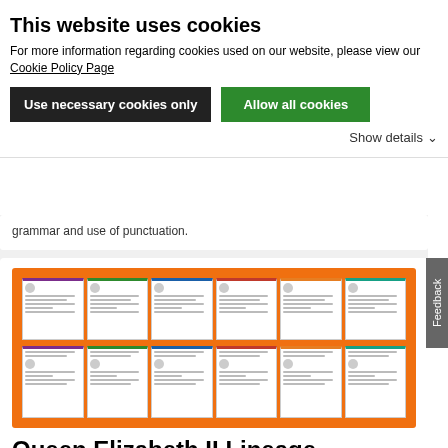This website uses cookies
For more information regarding cookies used on our website, please view our Cookie Policy Page
Use necessary cookies only
Allow all cookies
Show details
grammar and use of punctuation.
[Figure (screenshot): Preview of Queen Elizabeth II Lineage worksheets fanned out on an orange background, showing multiple differentiated activity sheets]
Queen Elizabeth II Lineage
Six differentiated activities to enable children to fill in the family tree using information from the text. Aimed at Years 1–6.